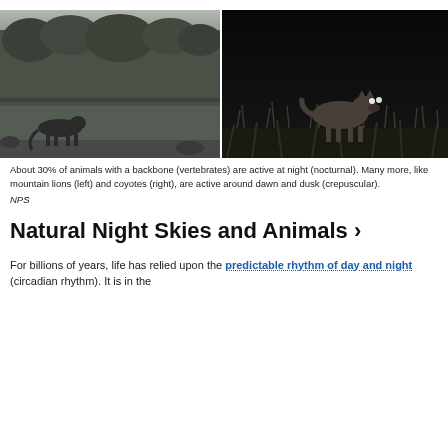[Figure (photo): Two side-by-side night/trail camera photos: left shows a mountain lion on a road in a forested area (grayscale), right shows a coyote in grass at night (dark background, grayscale).]
About 30% of animals with a backbone (vertebrates) are active at night (nocturnal). Many more, like mountain lions (left) and coyotes (right), are active around dawn and dusk (crepuscular).
NPS
Natural Night Skies and Animals ›
For billions of years, life has relied upon the predictable rhythm of day and night (circadian rhythm). It is in the